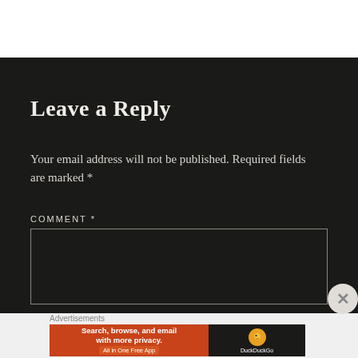Leave a Reply
Your email address will not be published. Required fields are marked *
COMMENT *
[Figure (screenshot): Empty comment text area input box with dark background and light border]
[Figure (screenshot): DuckDuckGo advertisement banner: 'Search, browse, and email with more privacy. All in One Free App' with DuckDuckGo logo on dark background]
Advertisements